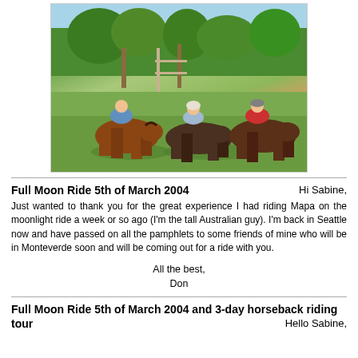[Figure (photo): Three people on horseback in a green field with trees in the background. One rider wears a blue top, one a light shirt with a cap, one a red shirt.]
Full Moon Ride 5th of March 2004
Hi Sabine, Just wanted to thank you for the great experience I had riding Mapa on the moonlight ride a week or so ago (I'm the tall Australian guy). I'm back in Seattle now and have passed on all the pamphlets to some friends of mine who will be in Monteverde soon and will be coming out for a ride with you.
All the best,
Don
Full Moon Ride 5th of March 2004 and 3-day horseback riding tour
Hello Sabine,